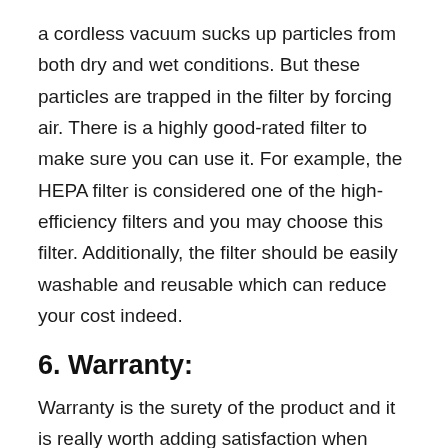a cordless vacuum sucks up particles from both dry and wet conditions. But these particles are trapped in the filter by forcing air. There is a highly good-rated filter to make sure you can use it. For example, the HEPA filter is considered one of the high-efficiency filters and you may choose this filter. Additionally, the filter should be easily washable and reusable which can reduce your cost indeed.
6. Warranty:
Warranty is the surety of the product and it is really worth adding satisfaction when someone manufacturers provide warranty features for the cordless vacuum. The warranty may be of different types. The vacuum as a whole may have a warranty feature and there may be a warranty for different parts individually. When you are going to buy such